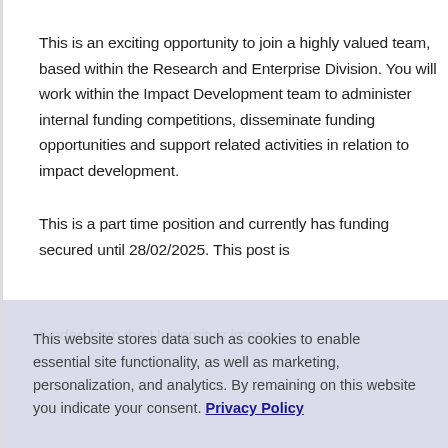This is an exciting opportunity to join a highly valued team, based within the Research and Enterprise Division. You will work within the Impact Development team to administer internal funding competitions, disseminate funding opportunities and support related activities in relation to impact development.
This is a part time position and currently has funding secured until 28/02/2025. This post is funded from the University's impact
This website stores data such as cookies to enable essential site functionality, as well as marketing, personalization, and analytics. By remaining on this website you indicate your consent. Privacy Policy